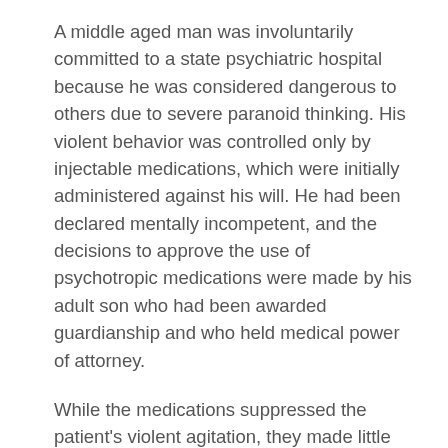A middle aged man was involuntarily committed to a state psychiatric hospital because he was considered dangerous to others due to severe paranoid thinking. His violent behavior was controlled only by injectable medications, which were initially administered against his will. He had been declared mentally incompetent, and the decisions to approve the use of psychotropic medications were made by his adult son who had been awarded guardianship and who held medical power of attorney.
While the medications suppressed the patient's violent agitation, they made little impact on his paranoid symptoms. His chances of being able to return to his home community appeared remote. However, a new drug was introduced into the hospital formulary which, if used with this patient, offered the strong possibility that he could return home. The drug, however, was only available in a pill form, and the patient's paranoia included fears that others would try to poison him. The suggestion was made to grind up the pill and surreptitiously administer the drug by mixing it in